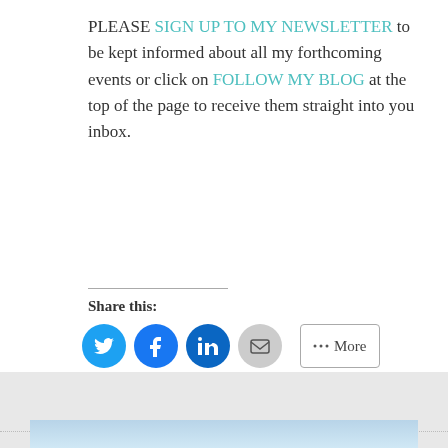PLEASE SIGN UP TO MY NEWSLETTER to be kept informed about all my forthcoming events or click on FOLLOW MY BLOG at the top of the page to receive them straight into you inbox.
Share this:
[Figure (infographic): Social sharing icons: Twitter (blue circle), Facebook (blue circle), LinkedIn (dark blue circle), Email (grey circle), and a More button with share icon]
Loading...
[Figure (photo): Partial sky/landscape photo at bottom of page]